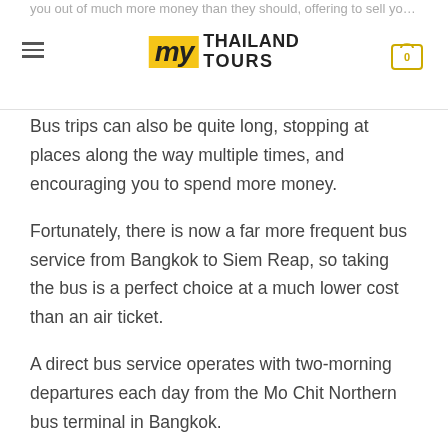you out of much more money than they should, offering to sell you your vis...
Bus trips can also be quite long, stopping at places along the way multiple times, and encouraging you to spend more money.
Fortunately, there is now a far more frequent bus service from Bangkok to Siem Reap, so taking the bus is a perfect choice at a much lower cost than an air ticket.
A direct bus service operates with two-morning departures each day from the Mo Chit Northern bus terminal in Bangkok.
The bus will take you to Siem Reap for a very reasonable price, but remember that you cross an international border, so read on to find out how all this works.